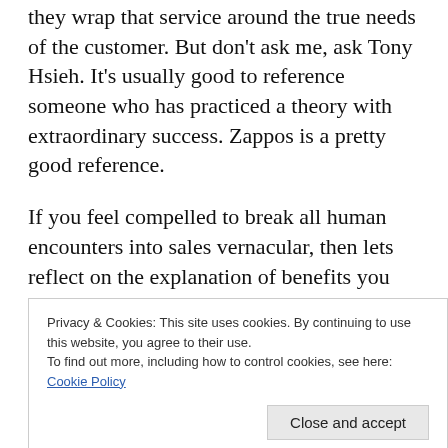they wrap that service around the true needs of the customer. But don't ask me, ask Tony Hsieh. It's usually good to reference someone who has practiced a theory with extraordinary success. Zappos is a pretty good reference.
If you feel compelled to break all human encounters into sales vernacular, then lets reflect on the explanation of benefits you get in the exchange of knowing and following Jesus. Various people rate the benefits differently according to their own faith journeys and needs....there's forgiveness of sin; life everlasting: a community of the faithful...all sorts of
Privacy & Cookies: This site uses cookies. By continuing to use this website, you agree to their use.
To find out more, including how to control cookies, see here: Cookie Policy
Another. Not just each other, but one another, which